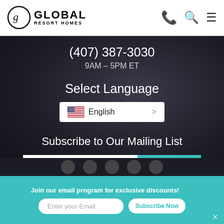Global Resort Homes
(407) 387-3030
9AM – 5PM ET
Select Language
English
Subscribe to Our Mailing List
Email Address*
SUBSCRIBE
Join our email program for exclusive discounts!
Enter your Email
Subscribe Now